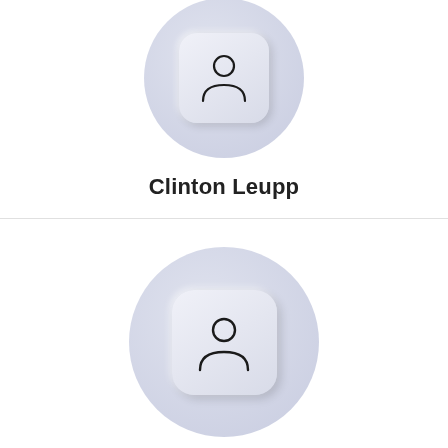[Figure (illustration): Profile avatar icon showing upper body silhouette with head arc visible, inside a rounded square on a circular background, partially cropped at top]
Clinton Leupp
[Figure (illustration): Profile avatar icon showing full person silhouette with circular head and shoulder arc, inside a rounded square on a circular lavender background]
Ngozi Ezeonu